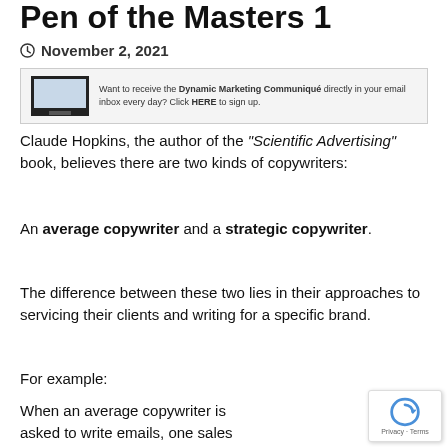Pen of the Masters 1
November 2, 2021
[Figure (infographic): Email newsletter signup banner with device image and text: Want to receive the Dynamic Marketing Communiqué directly in your email inbox every day? Click HERE to sign up.]
Claude Hopkins, the author of the “Scientific Advertising” book, believes there are two kinds of copywriters:
An average copywriter and a strategic copywriter.
The difference between these two lies in their approaches to servicing their clients and writing for a specific brand.
For example:
When an average copywriter is asked to write emails, one sales page, and one sales letter, he or